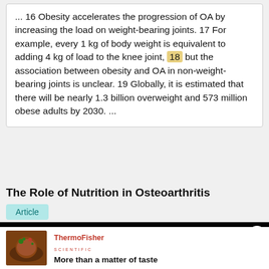... 16 Obesity accelerates the progression of OA by increasing the load on weight-bearing joints. 17 For example, every 1 kg of body weight is equivalent to adding 4 kg of load to the knee joint, 18 but the association between obesity and OA in non-weight-bearing joints is unclear. 19 Globally, it is estimated that there will be nearly 1.3 billion overweight and 573 million obese adults by 2030. ...
The Role of Nutrition in Osteoarthritis
Article
[Figure (screenshot): Dark overlay banner with spinner circle and text: How you can use Employer Branding as part of your recruitment strategy in academia, with a close button (X)]
[Figure (advertisement): Thermo Fisher Scientific advertisement showing food image and text: More than a matter of taste]